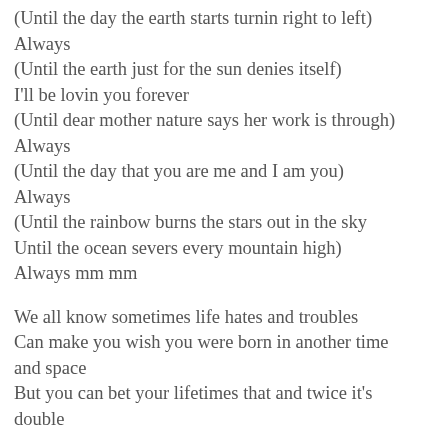(Until the day the earth starts turnin right to left)
Always
(Until the earth just for the sun denies itself)
I'll be lovin you forever
(Until dear mother nature says her work is through)
Always
(Until the day that you are me and I am you)
Always
(Until the rainbow burns the stars out in the sky
Until the ocean severs every mountain high)
Always mm mm
We all know sometimes life hates and troubles
Can make you wish you were born in another time and space
But you can bet your lifetimes that and twice it's double